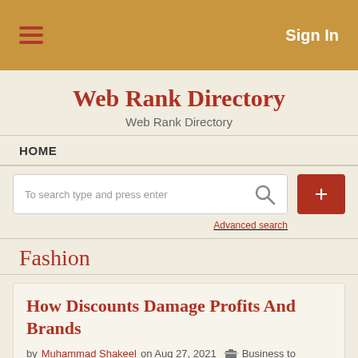≡  Sign In
Web Rank Directory
Web Rank Directory
HOME
To search type and press enter   Advanced search
Fashion
How Discounts Damage Profits And Brands
by Muhammad Shakeel on Aug 27, 2021   Business to